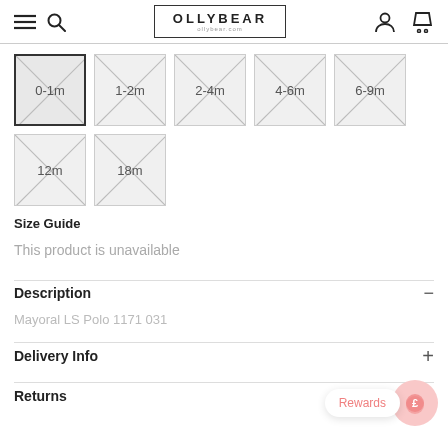OLLYBEAR
0-1m
1-2m
2-4m
4-6m
6-9m
12m
18m
Size Guide
This product is unavailable
Description
Mayoral LS Polo 1171 031
Delivery Info
Returns